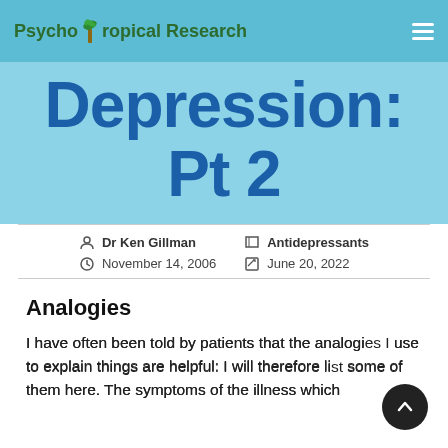Psycho Tropical Research
Depression: Pt 2
Dr Ken Gillman   Antidepressants   November 14, 2006   June 20, 2022
Analogies
I have often been told by patients that the analogies I use to explain things are helpful: I will therefore list some of them here. The symptoms of the illness which